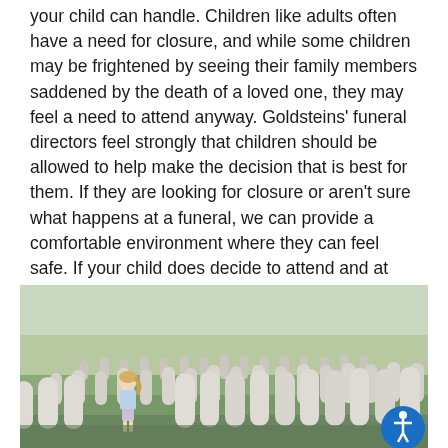your child can handle. Children like adults often have a need for closure, and while some children may be frightened by seeing their family members saddened by the death of a loved one, they may feel a need to attend anyway. Goldsteins' funeral directors feel strongly that children should be allowed to help make the decision that is best for them. If they are looking for closure or aren't sure what happens at a funeral, we can provide a comfortable environment where they can feel safe. If your child does decide to attend and at any time changes their mind, we will gladly take them back to the family room or the library at the Philadelphia chapel.
[Figure (photo): A young blonde girl with a ponytail, wearing a light blue sleeveless top, standing among rows of white military gravestones in a cemetery, looking down. The scene is outdoors on a sunny day with green grass.]